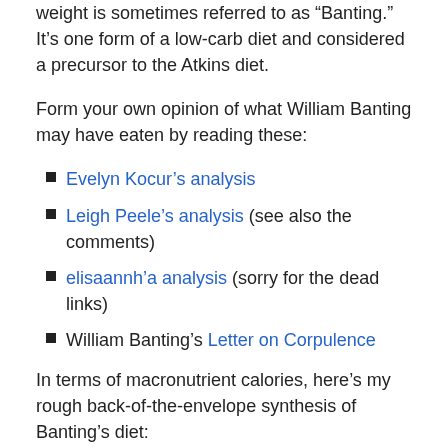weight is sometimes referred to as “Banting.” It’s one form of a low-carb diet and considered a precursor to the Atkins diet.
Form your own opinion of what William Banting may have eaten by reading these:
Evelyn Kocur’s analysis
Leigh Peele’s analysis (see also the comments)
elisaannh’a analysis (sorry for the dead links)
William Banting’s Letter on Corpulence
In terms of macronutrient calories, here’s my rough back-of-the-envelope synthesis of Banting’s diet:
20–25% carbohydrate
25% protein
60–65% fat